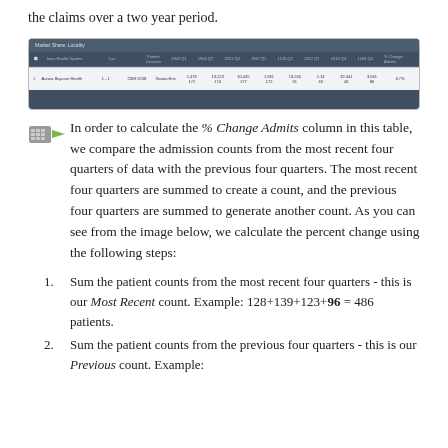the claims over a two year period.
[Figure (screenshot): Screenshot of a Market Share: Locality table showing healthcare data with columns for Iowa Health System, Location, Patient Location, and multiple quarterly columns (1993 Q1 through 1293 Q4) plus % Change Admits. One data row shows Aurora Baycare Health with various patient counts and 3.7% change.]
In order to calculate the % Change Admits column in this table, we compare the admission counts from the most recent four quarters of data with the previous four quarters. The most recent four quarters are summed to create a count, and the previous four quarters are summed to generate another count. As you can see from the image below, we calculate the percent change using the following steps:
Sum the patient counts from the most recent four quarters - this is our Most Recent count. Example: 128+139+123+96 = 486 patients.
Sum the patient counts from the previous four quarters - this is our Previous count. Example: